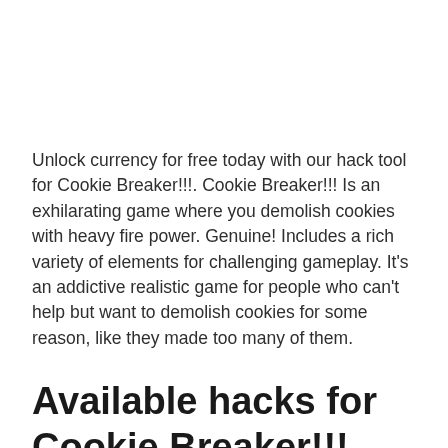Unlock currency for free today with our hack tool for Cookie Breaker!!!. Cookie Breaker!!! Is an exhilarating game where you demolish cookies with heavy fire power. Genuine! Includes a rich variety of elements for challenging gameplay. It's an addictive realistic game for people who can't help but want to demolish cookies for some reason, like they made too many of them.
Available hacks for Cookie Breaker!!!